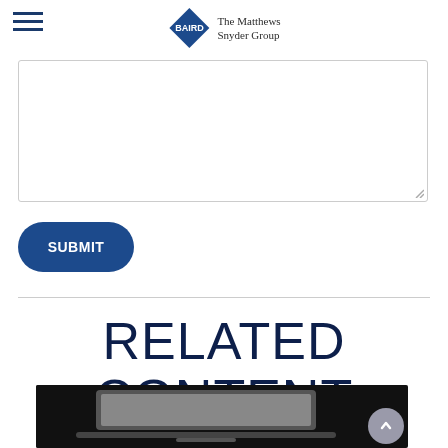BAIRD The Matthews Snyder Group
[Figure (other): Text area input box with resize handle]
SUBMIT
RELATED CONTENT
[Figure (photo): Photo of a laptop computer on a dark background]